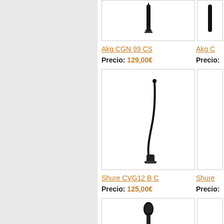[Figure (photo): AKG CGN 99 CS microphone product image, top portion visible, black condenser mic on white background]
Akg CGN 99 CS
Precio: 129,00€
[Figure (photo): Shure CVG12 B C gooseneck microphone product image, full product visible, black gooseneck mic on white background]
Shure CVG12 B C
Precio: 125,00€
[Figure (photo): Another microphone product image, partially visible at bottom, black microphone on white background]
[Figure (photo): Right column microphone product image, partially cut off]
Akg C
Precio:
Shure
Precio: